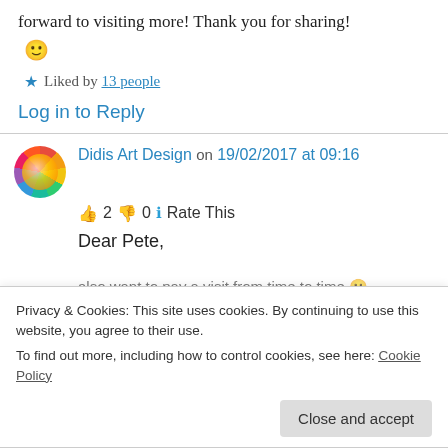forward to visiting more! Thank you for sharing! 🙂
★ Liked by 13 people
Log in to Reply
Didis Art Design on 19/02/2017 at 09:16
👍 2 👎 0 ℹ Rate This
Dear Pete,
Privacy & Cookies: This site uses cookies. By continuing to use this website, you agree to their use.
To find out more, including how to control cookies, see here: Cookie Policy
Close and accept
also want to pay a visit from time to time 🙂